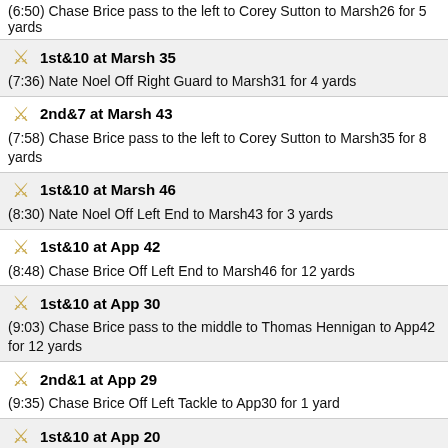(6:50) Chase Brice pass to the left to Corey Sutton to Marsh26 for 5 yards
1st&10 at Marsh 35
(7:36) Nate Noel Off Right Guard to Marsh31 for 4 yards
2nd&7 at Marsh 43
(7:58) Chase Brice pass to the left to Corey Sutton to Marsh35 for 8 yards
1st&10 at Marsh 46
(8:30) Nate Noel Off Left End to Marsh43 for 3 yards
1st&10 at App 42
(8:48) Chase Brice Off Left End to Marsh46 for 12 yards
1st&10 at App 30
(9:03) Chase Brice pass to the middle to Thomas Hennigan to App42 for 12 yards
2nd&1 at App 29
(9:35) Chase Brice Off Left Tackle to App30 for 1 yard
1st&10 at App 20
(10:17) Nate Noel Off Left Tackle to App29 for 9 yards
4th&5 at App 15
(10:22) Shane Ciucci 32 yard field goal is MISSED.
3rd&9 at App 19
(11:03) Grant Wells pass to the left to Xavier Gaines to App15 for 4 yards